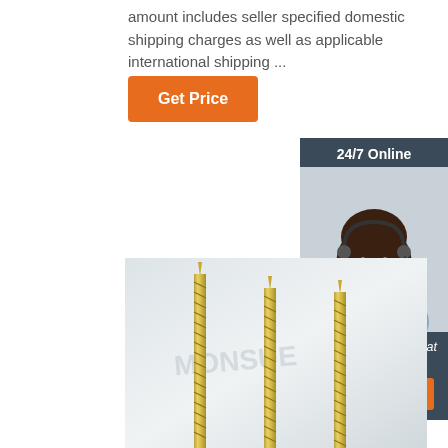amount includes seller specified domestic shipping charges as well as applicable international shipping ...
[Figure (other): Orange 'Get Price' button]
[Figure (other): 24/7 Online chat widget with female customer service agent wearing headset, 'Click here for free chat!' text and orange QUOTATION button]
[Figure (photo): Three tall gold/brass screws with spiral threading standing upright against a light gray background, with watermark text 'MONSUE' visible]